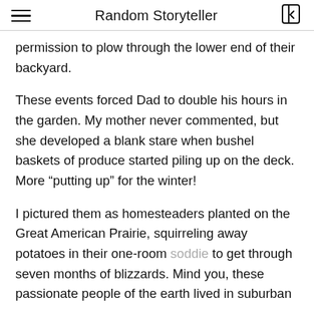Random Storyteller
permission to plow through the lower end of their backyard.
These events forced Dad to double his hours in the garden. My mother never commented, but she developed a blank stare when bushel baskets of produce started piling up on the deck. More “putting up” for the winter!
I pictured them as homesteaders planted on the Great American Prairie, squirreling away potatoes in their one-room soddie to get through seven months of blizzards. Mind you, these passionate people of the earth lived in suburban